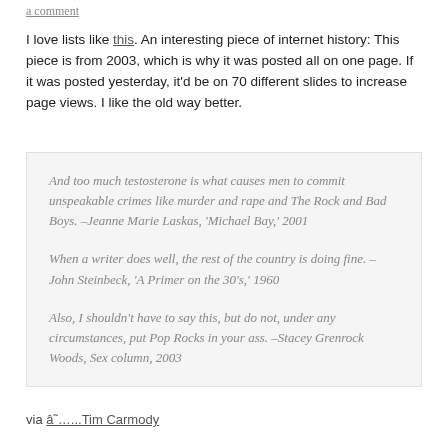a comment
I love lists like this. An interesting piece of internet history: This piece is from 2003, which is why it was posted all on one page. If it was posted yesterday, it'd be on 70 different slides to increase page views. I like the old way better.
And too much testosterone is what causes men to commit unspeakable crimes like murder and rape and The Rock and Bad Boys. –Jeanne Marie Laskas, 'Michael Bay,' 2001

When a writer does well, the rest of the country is doing fine. –John Steinbeck, 'A Primer on the 30's,' 1960

Also, I shouldn't have to say this, but do not, under any circumstances, put Pop Rocks in your ass. –Stacey Grenrock Woods, Sex column, 2003
via â˜…...Tim Carmody